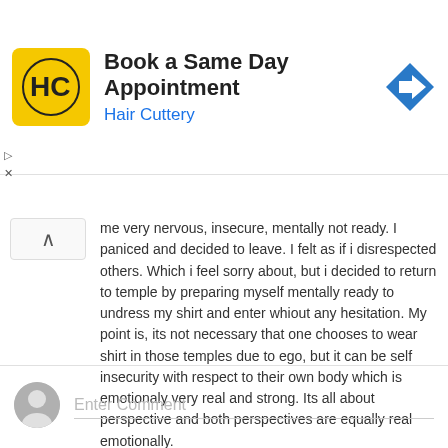[Figure (other): Hair Cuttery advertisement banner with logo, title 'Book a Same Day Appointment', subtitle 'Hair Cuttery', and a blue navigation arrow icon]
me very nervous, insecure, mentally not ready. I paniced and decided to leave. I felt as if i disrespected others. Which i feel sorry about, but i decided to return to temple by preparing myself mentally ready to undress my shirt and enter whiout any hesitation. My point is, its not necessary that one chooses to wear shirt in those temples due to ego, but it can be self insecurity with respect to their own body which is emotionaly very real and strong. Its all about perspective and both perspectives are equally real emotionally.
Reply
Enter Comment